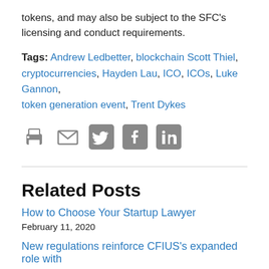tokens, and may also be subject to the SFC's licensing and conduct requirements.
Tags: Andrew Ledbetter, blockchain Scott Thiel, cryptocurrencies, Hayden Lau, ICO, ICOs, Luke Gannon, token generation event, Trent Dykes
[Figure (other): Social sharing icons: print, email, Twitter, Facebook, LinkedIn]
Related Posts
How to Choose Your Startup Lawyer
February 11, 2020
New regulations reinforce CFIUS's expanded role with